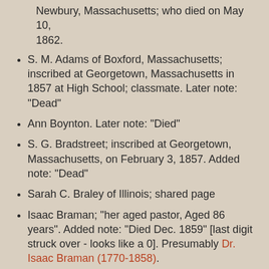Newbury, Massachusetts; who died on May 10, 1862.
S. M. Adams of Boxford, Massachusetts; inscribed at Georgetown, Massachusetts in 1857 at High School; classmate.  Later note: "Dead"
Ann Boynton.  Later note: "Died"
S. G. Bradstreet; inscribed at Georgetown, Massachusetts, on February 3, 1857.  Added note: "Dead"
Sarah C. Braley of Illinois; shared page
Isaac Braman; "her aged pastor, Aged 86 years".  Added note: "Died Dec. 1859" [last digit struck over - looks like a 0].  Presumably Dr. Isaac Braman (1770-1858).
S. Braman; inscribed at Georgetown, Massachusetts, on January 28, 1857.  Presumably Sarah (Balch) Braman (1790-1893), second wife of Rev. Isaac Braman.
Phillips Brooks.  Perhaps Phillips Brooks (1835-1893)